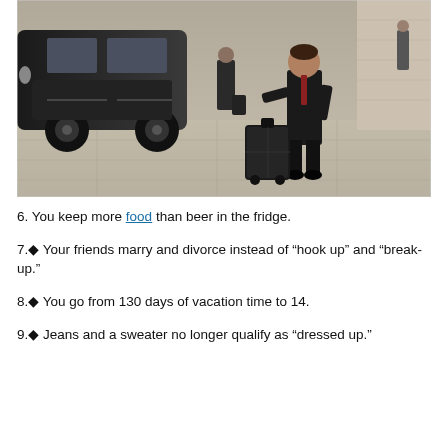[Figure (photo): A young child dressed in a dark suit pulling a rolling suitcase on a city sidewalk, with a black taxi cab and another suited figure in the background. Black and white/sepia toned photo.]
6. You keep more food than beer in the fridge.
7.◆ Your friends marry and divorce instead of “hook up” and “break-up.”
8.◆ You go from 130 days of vacation time to 14.
9.◆ Jeans and a sweater no longer qualify as “dressed up.”